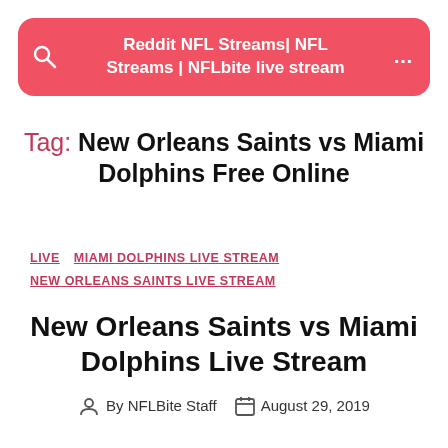Reddit NFL Streams| NFL Streams | NFLbite live stream
Tag: New Orleans Saints vs Miami Dolphins Free Online
LIVE  MIAMI DOLPHINS LIVE STREAM  NEW ORLEANS SAINTS LIVE STREAM
New Orleans Saints vs Miami Dolphins Live Stream
By NFLBite Staff  August 29, 2019